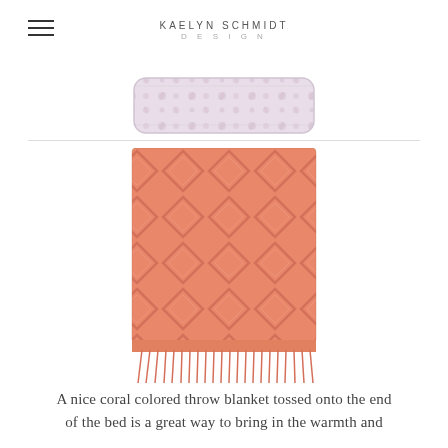KAELYN SCHMIDT DESIGN
[Figure (photo): Partial view of a patterned pillow or cushion with floral/botanical print in pink and white tones, cropped at top of page.]
[Figure (photo): A coral/salmon colored knit throw blanket with raised diamond lattice pattern and fringe at the bottom, folded and displayed against a white background.]
A nice coral colored throw blanket tossed onto the end of the bed is a great way to bring in the warmth and